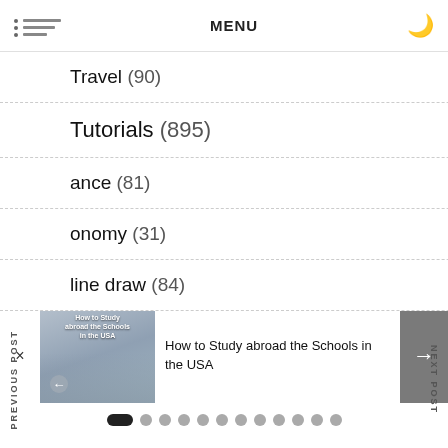MENU
Travel (90)
Tutorials (895)
ance (81)
onomy (31)
line draw (84)
PREVIOUS POST
NEXT POST
[Figure (photo): Thumbnail image showing students studying, with text overlay 'How to Study abroad the Schools in the USA']
How to Study abroad the Schools in the USA